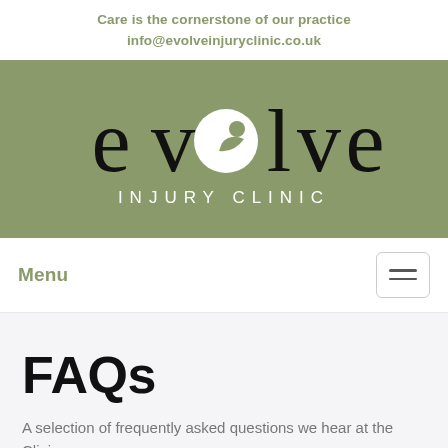Care is the cornerstone of our practice
info@evolveinjuryclinic.co.uk
[Figure (logo): Evolve Injury Clinic logo on olive/khaki green background. Large stylized text 'evolve' in black with a white circle/figure incorporated into the 'o', below it 'INJURY CLINIC' in white spaced capitals.]
Menu
FAQs
A selection of frequently asked questions we hear at the Clinic.